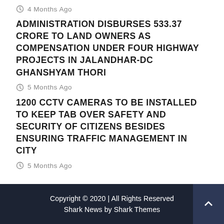4 Months Ago
ADMINISTRATION DISBURSES 533.37 CRORE TO LAND OWNERS AS COMPENSATION UNDER FOUR HIGHWAY PROJECTS IN JALANDHAR-DC GHANSHYAM THORI
5 Months Ago
1200 CCTV CAMERAS TO BE INSTALLED TO KEEP TAB OVER SAFETY AND SECURITY OF CITIZENS BESIDES ENSURING TRAFFIC MANAGEMENT IN CITY
5 Months Ago
Copyright © 2020 | All Rights Reserved Shark News by Shark Themes